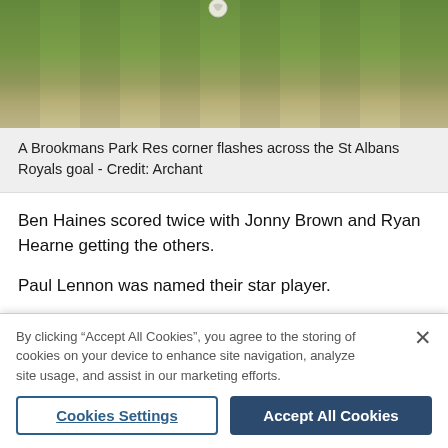[Figure (photo): A football/soccer scene showing grass pitch with a ball visible near the top, partial view of a corner kick or cross situation at St Albans Royals goal]
A Brookmans Park Res corner flashes across the St Albans Royals goal - Credit: Archant
Ben Haines scored twice with Jonny Brown and Ryan Hearne getting the others.
Paul Lennon was named their star player.
New Jacks qualified for the semi-finals of the Challenge Cup following a confident 5-1 win against
By clicking "Accept All Cookies", you agree to the storing of cookies on your device to enhance site navigation, analyze site usage, and assist in our marketing efforts.
Cookies Settings
Accept All Cookies